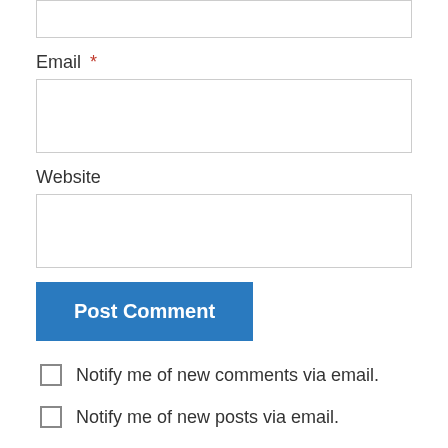Email *
Website
Post Comment
Notify me of new comments via email.
Notify me of new posts via email.
MissFourEyes on February 27, 2013 at 7:50 am